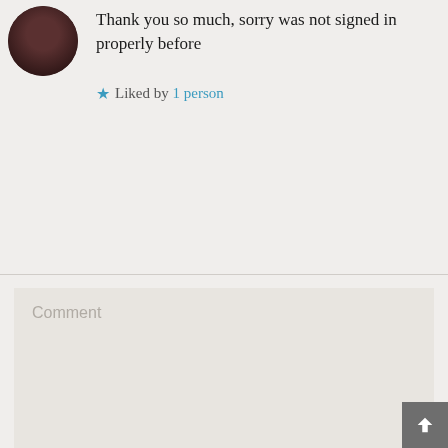Thank you so much, sorry was not signed in properly before
★ Liked by 1 person
Leave a Reply
Your email address will not be published. Required fields are marked *
Comment